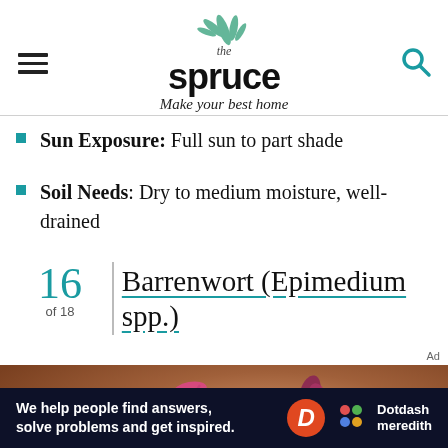[Figure (logo): The Spruce logo with leaf decoration, hamburger menu icon on left, search icon on right. Tagline: Make your best home]
Sun Exposure: Full sun to part shade
Soil Needs: Dry to medium moisture, well-drained
16 of 18 | Barrenwort (Epimedium spp.)
[Figure (photo): Close-up photo of pink/magenta Epimedium (barrenwort) flowers on stems against a warm brown background]
Ad
We help people find answers, solve problems and get inspired. Dotdash meredith